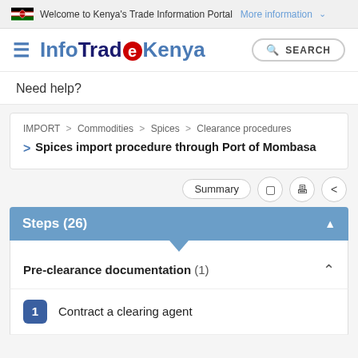Welcome to Kenya's Trade Information Portal More information
[Figure (logo): InfoTradeKenya logo with hamburger menu and search button]
Need help?
IMPORT > Commodities > Spices > Clearance procedures > Spices import procedure through Port of Mombasa
Summary
Steps (26)
Pre-clearance documentation (1)
1 Contract a clearing agent